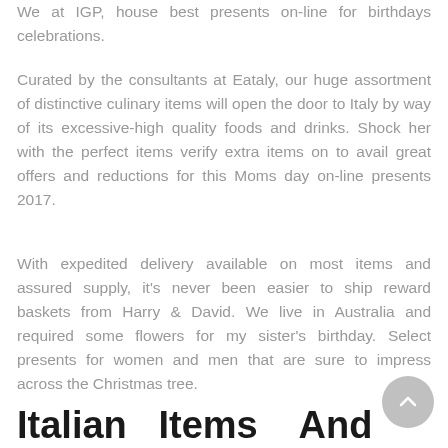We at IGP, house best presents on-line for birthdays celebrations.
Curated by the consultants at Eataly, our huge assortment of distinctive culinary items will open the door to Italy by way of its excessive-high quality foods and drinks. Shock her with the perfect items verify extra items on to avail great offers and reductions for this Moms day on-line presents 2017.
With expedited delivery available on most items and assured supply, it's never been easier to ship reward baskets from Harry & David. We live in Australia and required some flowers for my sister's birthday. Select presents for women and men that are sure to impress across the Christmas tree.
Italian Items And